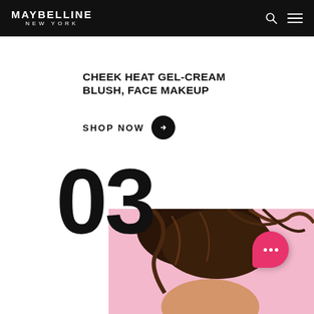MAYBELLINE NEW YORK
CHEEK HEAT GEL-CREAM BLUSH, FACE MAKEUP
SHOP NOW →
03
[Figure (photo): Woman with dark hair in updo bun against pink background, partially visible, lower half of face cropped]